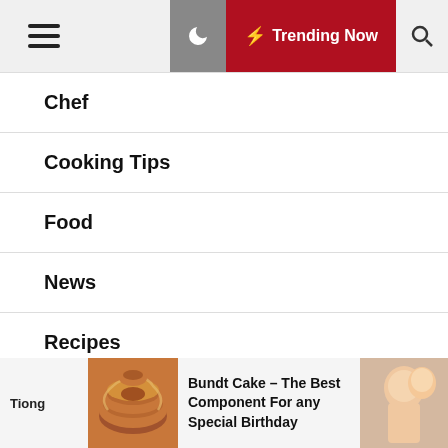☰  🌙  ⚡ Trending Now  🔍
Chef
Cooking Tips
Food
News
Recipes
Restaurant
Wine & Drinks
Tiong  Bundt Cake – The Best Component For any Special Birthday